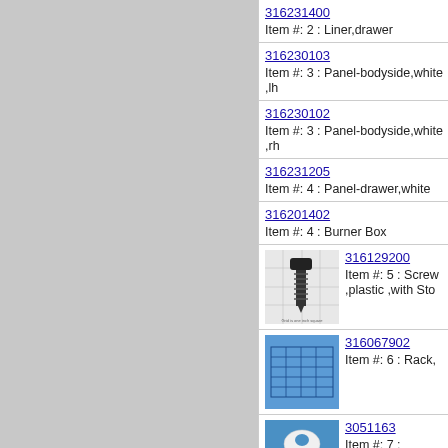316231400 - Item #: 2 : Liner,drawer
316230103 - Item #: 3 : Panel-bodyside,white ,lh
316230102 - Item #: 3 : Panel-bodyside,white ,rh
316231205 - Item #: 4 : Panel-drawer,white
316201402 - Item #: 4 : Burner Box
[Figure (photo): Photo of a black plastic screw with threaded shaft on a grid background (grid is one inch square)]
316129200 - Item #: 5 : Screw ,plastic ,with Sto
[Figure (photo): Photo of a blue rack/grid component on a blue background]
316067902 - Item #: 6 : Rack,
[Figure (photo): Photo of a white plastic glide/drawer slide component on a blue background]
3051163 - Item #: 7 : Glide,d